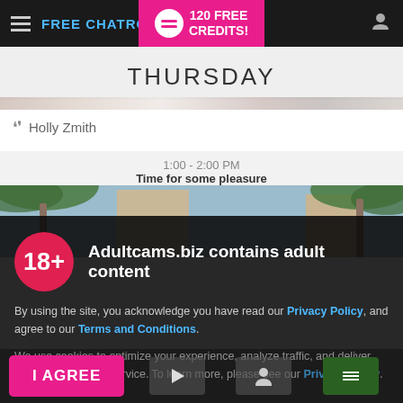FREE CHATROOMS | 120 FREE CREDITS!
THURSDAY
Holly Zmith
1:00 - 2:00 PM
Time for some pleasure
[Figure (photo): Outdoor photo showing palm trees and a building against a blue sky]
Adultcams.biz contains adult content
By using the site, you acknowledge you have read our Privacy Policy, and agree to our Terms and Conditions.
We use cookies to optimize your experience, analyze traffic, and deliver more personalized service. To learn more, please see our Privacy Policy.
I AGREE